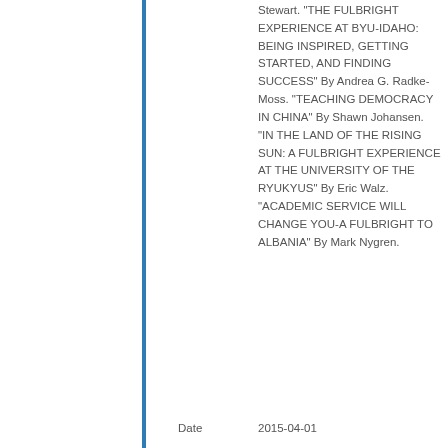Stewart. "THE FULBRIGHT EXPERIENCE AT BYU-IDAHO: BEING INSPIRED, GETTING STARTED, AND FINDING SUCCESS" By Andrea G. Radke-Moss. "TEACHING DEMOCRACY IN CHINA" By Shawn Johansen. "IN THE LAND OF THE RISING SUN: A FULBRIGHT EXPERIENCE AT THE UNIVERSITY OF THE RYUKYUS" By Eric Walz. "ACADEMIC SERVICE WILL CHANGE YOU-A FULBRIGHT TO ALBANIA" By Mark Nygren.
Date
2015-04-01